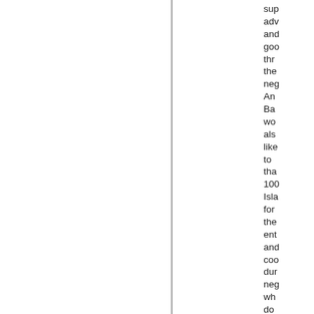sup adv and goo thr the neg An Ba wo als like to tha 100 Isla for the ent and coo dur neg wh do